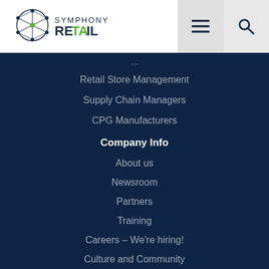[Figure (logo): Symphony Retail logo with network/molecule graphic in dark blue and green]
Retail Store Management
Supply Chain Managers
CPG Manufacturers
Company Info
About us
Newsroom
Partners
Training
Careers – We're hiring!
Culture and Community
Community Hubs
COVID-19